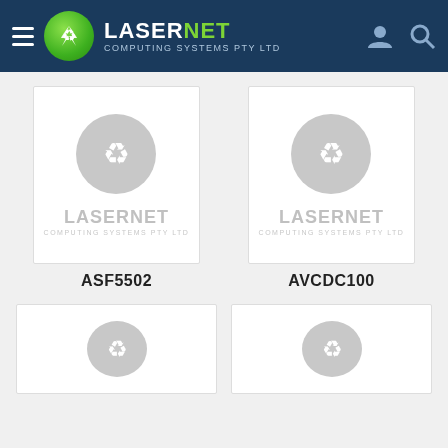[Figure (screenshot): LaserNet Computing Systems PTY LTD website header with logo, navigation hamburger menu, user and search icons on dark blue background]
[Figure (screenshot): Product card placeholder with gray recycle icon and LaserNet Computing Systems PTY LTD text for product ASF5502]
ASF5502
[Figure (screenshot): Product card placeholder with gray recycle icon and LaserNet Computing Systems PTY LTD text for product AVCDC100]
AVCDC100
[Figure (screenshot): Partial product card placeholder with gray recycle icon, bottom row left]
[Figure (screenshot): Partial product card placeholder with gray recycle icon, bottom row right]